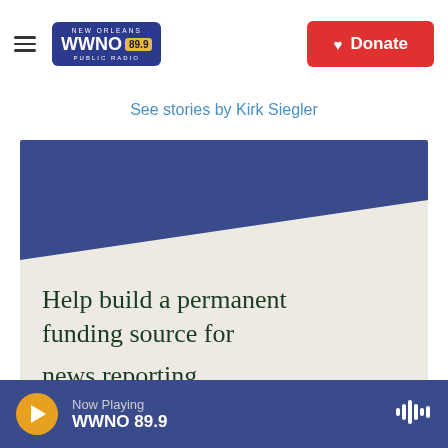NEW ORLEANS WWNO 89.9 PUBLIC RADIO | Donate
See stories by Kirk Siegler
[Figure (infographic): WWNO promotional banner with blue diagonal design and text: Help build a permanent funding source for WWNO's local news reporting.]
Now Playing WWNO 89.9